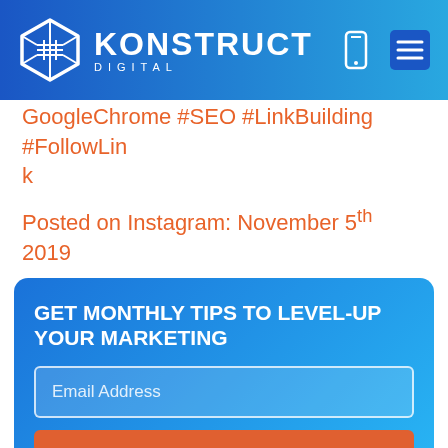KONSTRUCT DIGITAL
GoogleChrome #SEO #LinkBuilding #FollowLink
Posted on Instagram: November 5th 2019
GET MONTHLY TIPS TO LEVEL-UP YOUR MARKETING
Email Address
SUBSCRIBE